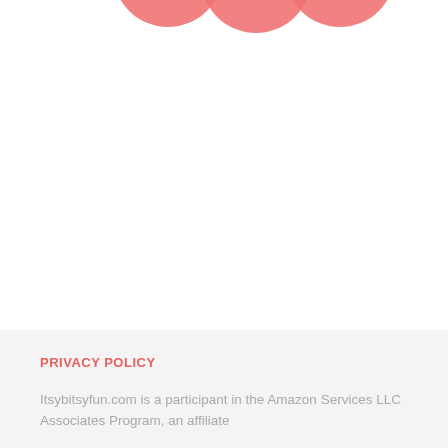[Figure (illustration): Three overlapping coral/salmon-colored circle shapes at the top of the page, partially cropped]
PRIVACY POLICY
Itsybitsyfun.com is a participant in the Amazon Services LLC Associates Program, an affiliate